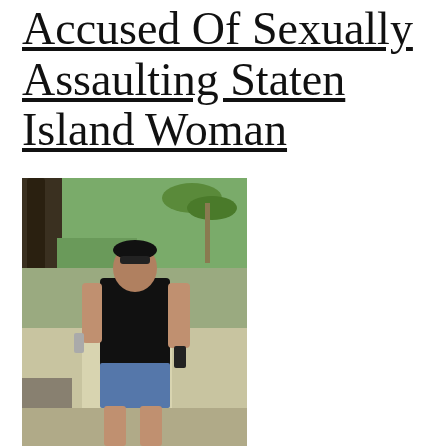Accused Of Sexually Assaulting Staten Island Woman
[Figure (photo): Photo of a man in a black sleeveless shirt and blue shorts, standing outdoors in a park-like setting with palm trees and greenery in the background, holding an object in each hand.]